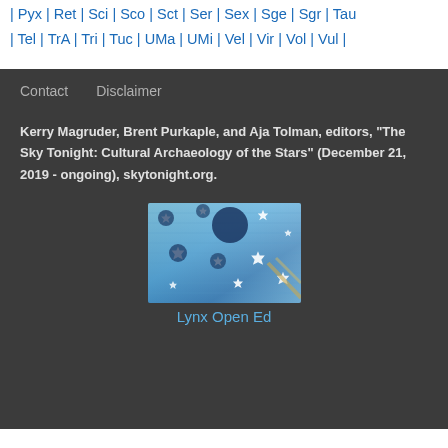| Pyx | Ret | Sci | Sco | Sct | Ser | Sex | Sge | Sgr | Tau | Tel | TrA | Tri | Tuc | UMa | UMi | Vel | Vir | Vol | Vul |
Contact   Disclaimer
Kerry Magruder, Brent Purkaple, and Aja Tolman, editors, "The Sky Tonight: Cultural Archaeology of the Stars" (December 21, 2019 - ongoing), skytonight.org.
[Figure (photo): Image of star fabric or decorative stars pattern in blue tones representing celestial/astronomical theme]
Lynx Open Ed